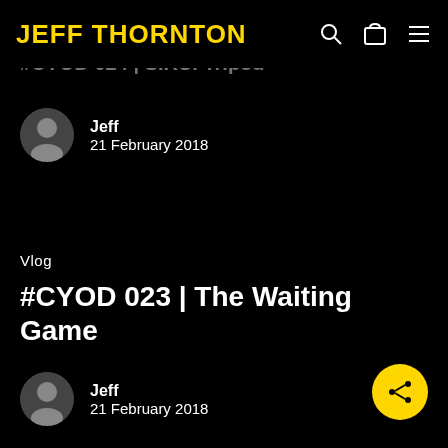JEFF THORNTON
#CYOD 024 | SIRUI Tripod
Jeff
21 February 2018
Vlog
#CYOD 023 | The Waiting Game
Jeff
21 February 2018